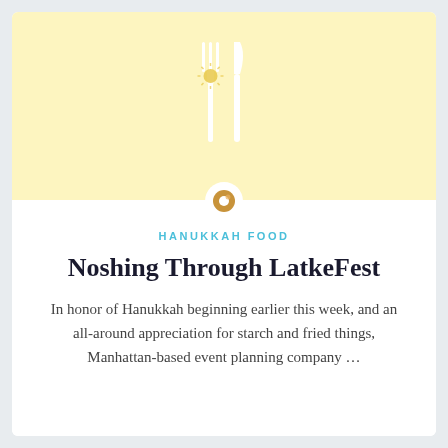[Figure (illustration): Fork and knife icon in white on a pale yellow background, with a small decorative sunburst at the fork tines. Below the yellow banner sits a small golden donut icon in a white circle overlapping the banner edge.]
HANUKKAH FOOD
Noshing Through LatkeFest
In honor of Hanukkah beginning earlier this week, and an all-around appreciation for starch and fried things, Manhattan-based event planning company …